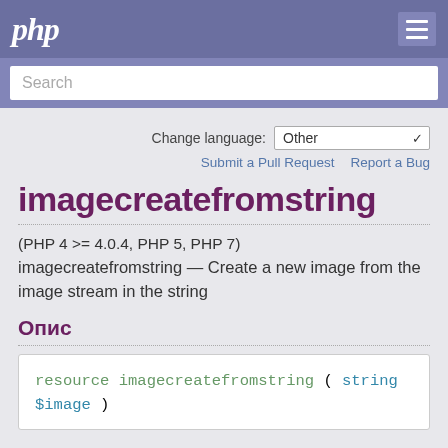php
Search
Change language: Other
Submit a Pull Request   Report a Bug
imagecreatefromstring
(PHP 4 >= 4.0.4, PHP 5, PHP 7)
imagecreatefromstring — Create a new image from the image stream in the string
Опис
resource imagecreatefromstring ( string $image )